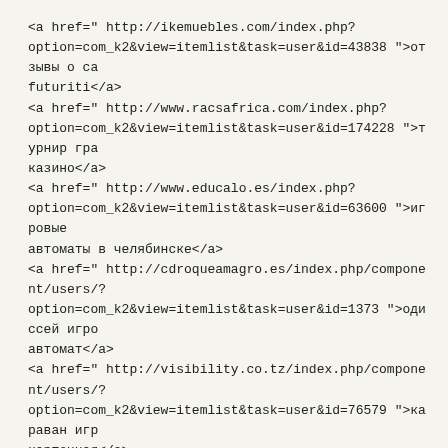<a href=" http://ikemuebles.com/index.php?
option=com_k2&view=itemlist&task=user&id=43838 ">отзывы о са futuriti</a>
<a href=" http://www.racsafrica.com/index.php?
option=com_k2&view=itemlist&task=user&id=174228 ">турнир гра казино</a>
<a href=" http://www.educalo.es/index.php?
option=com_k2&view=itemlist&task=user&id=63600 ">игровые автоматы в челябинске</a>
<a href=" http://cdroqueamagro.es/index.php/component/users/?
option=com_k2&view=itemlist&task=user&id=1373 ">одиссей игро автомат</a>
<a href=" http://visibility.co.tz/index.php/component/users/?
option=com_k2&view=itemlist&task=user&id=76579 ">караван игр карточная</a>
<a href=" http://xn—h1aaeccndpk.xn—p1ai/index.php?
option=com_k2&view=itemlist&task=user&id=511693 ">фараон слот</a>
<a href="
http://www.epdstreefelling.co.za/index.php/component/users/?